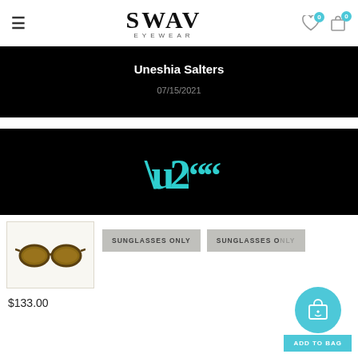SWAV EYEWEAR
Uneshia Salters
07/15/2021
[Figure (illustration): Large teal quotation mark on black background]
[Figure (photo): Brown frame sunglasses product thumbnail on light background]
SUNGLASSES ONLY
SUNGLASSES ONLY
$133.00
ADD TO BAG